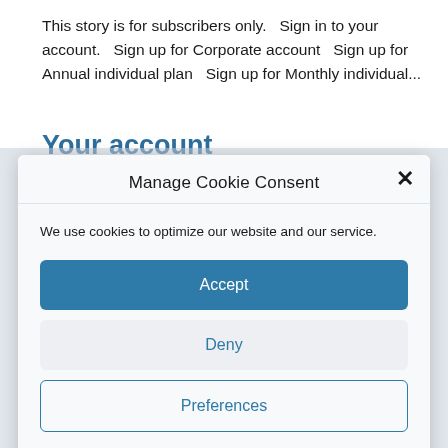This story is for subscribers only.   Sign in to your account.   Sign up for Corporate account   Sign up for Annual individual plan   Sign up for Monthly individual...
Your account
Manage Cookie Consent
We use cookies to optimize our website and our service.
Accept
Deny
Preferences
Cookie Policy   Privacy Policy